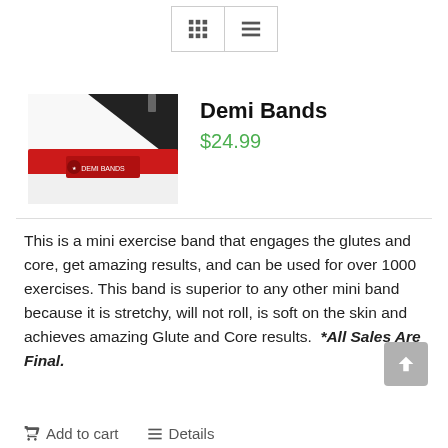[Figure (screenshot): Grid/list view toggle toolbar buttons]
[Figure (photo): Product photo of Demi Bands exercise band — black and red band with tag]
Demi Bands
$24.99
This is a mini exercise band that engages the glutes and core, get amazing results, and can be used for over 1000 exercises. This band is superior to any other mini band because it is stretchy, will not roll, is soft on the skin and achieves amazing Glute and Core results. *All Sales Are Final.
Add to cart   Details